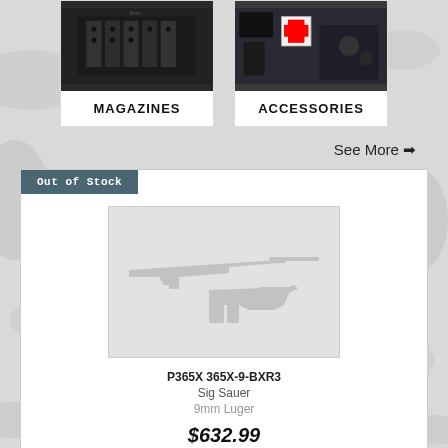[Figure (photo): Camouflage background pattern in light grey and white tones]
[Figure (photo): Magazines category card with dark photo of gun magazines on top and bold label MAGAZINES below]
[Figure (photo): Accessories category card with dark photo showing tactical gear/patch on top and bold label ACCESSORIES below]
See More →
Out of Stock
[Figure (illustration): Out of stock product listing card showing faded/greyed out silhouettes of a rifle and handgun as placeholder image]
P365X 365X-9-BXR3
Sig Sauer
9mm Luger
$632.99